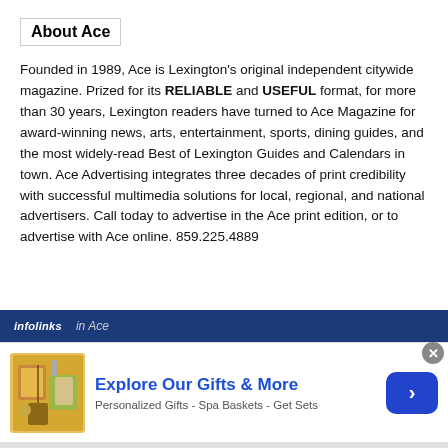About Ace
Founded in 1989, Ace is Lexington's original independent citywide magazine. Prized for its RELIABLE and USEFUL format, for more than 30 years, Lexington readers have turned to Ace Magazine for award-winning news, arts, entertainment, sports, dining guides, and the most widely-read Best of Lexington Guides and Calendars in town. Ace Advertising integrates three decades of print credibility with successful multimedia solutions for local, regional, and national advertisers. Call today to advertise in the Ace print edition, or to advertise with Ace online. 859.225.4889
[Figure (infographic): Infolinks advertisement bar with logo and partial text reading 'in Ace', followed by a gift products advertisement banner showing 'Explore Our Gifts & More', 'Personalized Gifts - Spa Baskets - Get Sets' with a product image and navigation arrow button]